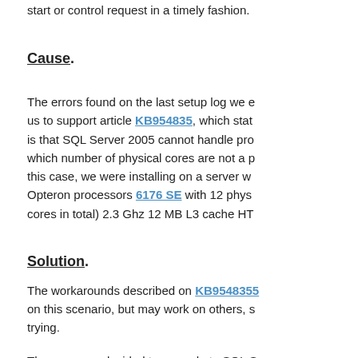start or control request in a timely fashion.
Cause.
The errors found on the last setup log we e us to support article KB954835, which stat is that SQL Server 2005 cannot handle pro which number of physical cores are not a p this case, we were installing on a server w Opteron processors 6176 SE with 12 phys cores in total) 2.3 Ghz 12 MB L3 cache HT
Solution.
The workarounds described on KB9548355 on this scenario, but may work on others, s trying.
The company decided to upgrade to SQL S R2 Standard Edition. The installation of SC 2008 R2 was successful.